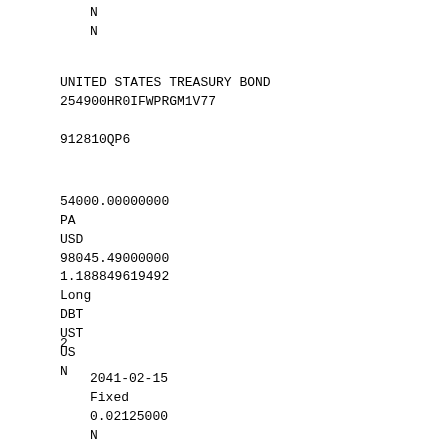N
N
UNITED STATES TREASURY BOND
254900HR0IFWPRGM1V77
912810QP6
54000.00000000
PA
USD
98045.49000000
1.188849619492
Long
DBT
UST
US
N
2
2041-02-15
Fixed
0.02125000
N
N